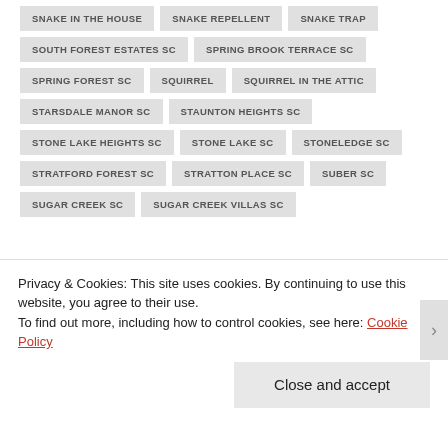SNAKE IN THE HOUSE
SNAKE REPELLENT
SNAKE TRAP
SOUTH FOREST ESTATES SC
SPRING BROOK TERRACE SC
SPRING FOREST SC
SQUIRREL
SQUIRREL IN THE ATTIC
STARSDALE MANOR SC
STAUNTON HEIGHTS SC
STONE LAKE HEIGHTS SC
STONE LAKE SC
STONELEDGE SC
STRATFORD FOREST SC
STRATTON PLACE SC
SUBER SC
SUGAR CREEK SC
SUGAR CREEK VILLAS SC
Privacy & Cookies: This site uses cookies. By continuing to use this website, you agree to their use.
To find out more, including how to control cookies, see here: Cookie Policy